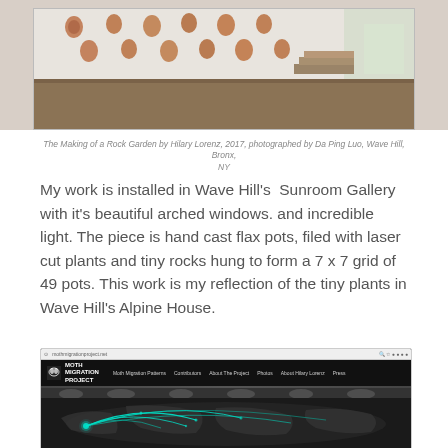[Figure (photo): Gallery installation photo showing ceramic pots mounted on a white wall in a grid arrangement, at Wave Hill Sunroom Gallery, Bronx NY]
The Making of a Rock Garden by Hilary Lorenz, 2017, photographed by Da Ping Luo, Wave Hill, Bronx, NY
My work is installed in Wave Hill's  Sunroom Gallery with it's beautiful arched windows. and incredible light. The piece is hand cast flax pots, filed with laser cut plants and tiny rocks hung to form a 7 x 7 grid of 49 pots. This work is my reflection of the tiny plants in Wave Hill's Alpine House.
[Figure (screenshot): Screenshot of the Moth Migration Project website showing a world map with glowing teal migration paths on a dark background, with navigation menu including Moth Migration Patterns, Contributors, About The Project, Photos, About Hilary Lorenz, Press]